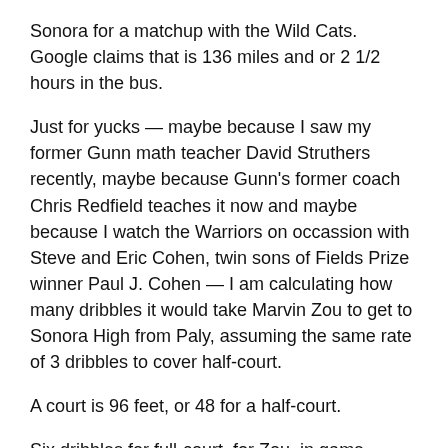Sonora for a matchup with the Wild Cats. Google claims that is 136 miles and or 2 1/2 hours in the bus.
Just for yucks — maybe because I saw my former Gunn math teacher David Struthers recently, maybe because Gunn's former coach Chris Redfield teaches it now and maybe because I watch the Warriors on occassion with Steve and Eric Cohen, twin sons of Fields Prize winner Paul J. Cohen — I am calculating how many dribbles it would take Marvin Zou to get to Sonora High from Paly, assuming the same rate of 3 dribbles to cover half-court.
A court is 96 feet, or 48 for a half-court.
Six dribbles for full-court, for Zou, in game situations.
Mile is 5,280 feet. Or 55 courts. So for Zou, disregarding fatigue or potholes, a mile is 330 dribbles.